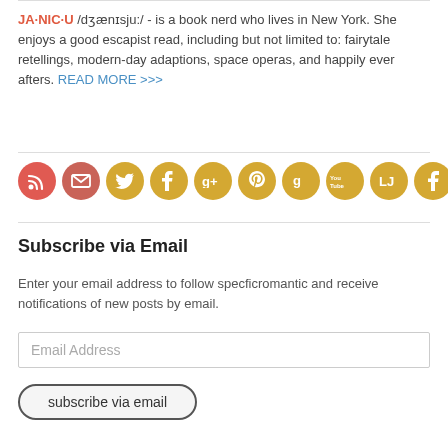JA·NIC·U /dʒænɪsju:/ - is a book nerd who lives in New York. She enjoys a good escapist read, including but not limited to: fairytale retellings, modern-day adaptions, space operas, and happily ever afters. READ MORE >>>
[Figure (other): Row of 10 social media icon circles: RSS, Email, Twitter, Tumblr, Google+, Pinterest, Goodreads, YouTube, LiveJournal, Facebook]
Subscribe via Email
Enter your email address to follow specficromantic and receive notifications of new posts by email.
Email Address
subscribe via email